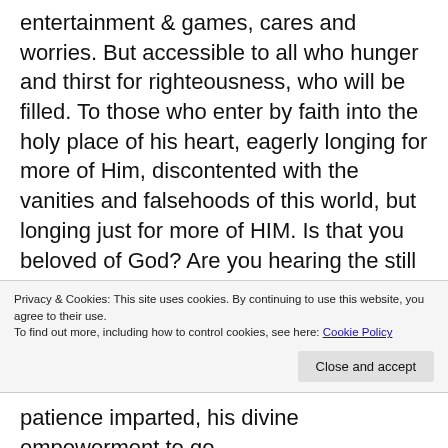entertainment & games, cares and worries. But accessible to all who hunger and thirst for righteousness, who will be filled. To those who enter by faith into the holy place of his heart, eagerly longing for more of Him, discontented with the vanities and falsehoods of this world, but longing just for more of HIM. Is that you beloved of God? Are you hearing the still small voice calling “Seek My face”
The deeper place of prayer is being lost in His holy presence, experiencing the anointing that breaks every yoke, its where veils are removed and we
Privacy & Cookies: This site uses cookies. By continuing to use this website, you agree to their use.
To find out more, including how to control cookies, see here: Cookie Policy
patience imparted, his divine empowerment to go